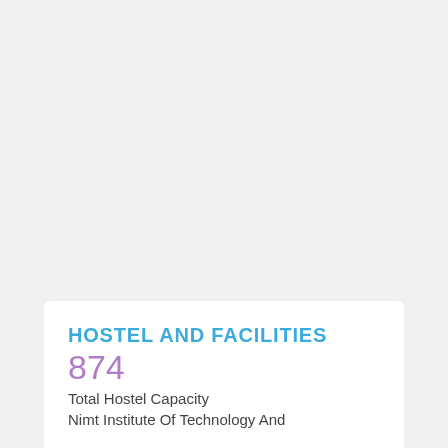HOSTEL AND FACILITIES
874
Total Hostel Capacity
Nimt Institute Of Technology And